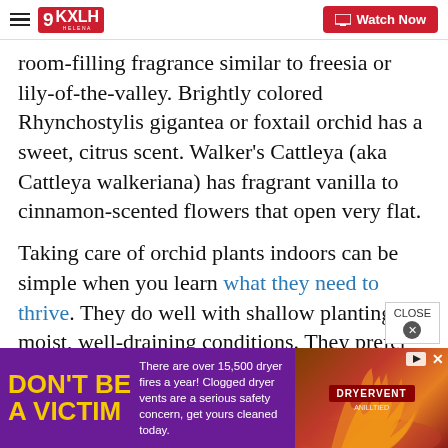9KXLH Helena — Watch Now
room-filling fragrance similar to freesia or lily-of-the-valley. Brightly colored Rhynchostylis gigantea or foxtail orchid has a sweet, citrus scent. Walker's Cattleya (aka Cattleya walkeriana) has fragrant vanilla to cinnamon-scented flowers that open very flat.
Taking care of orchid plants indoors can be simple when you learn what they need to thrive. They do well with shallow planting in moist, well-draining conditions. They prefer bright, indirect light, but too much light can scorch the leaves. Placing them in an east or south-facing window is ideal. Cooler
[Figure (screenshot): Advertisement banner: DON'T BE A VICTIM — There are over 15,500 dryer fires a year! Clogged dryer vents are a serious safety concern, get yours cleaned today. DryerVent brand logo with image of fire/dryer.]